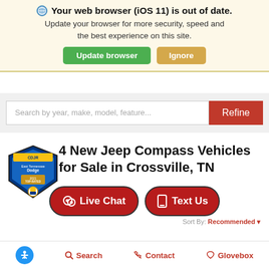Your web browser (iOS 11) is out of date. Update your browser for more security, speed and the best experience on this site.
Update browser | Ignore
[Figure (screenshot): Search bar with placeholder 'Search by year, make, model, feature...' and a red Refine button]
4 New Jeep Compass Vehicles for Sale in Crossville, TN
[Figure (logo): East Tennessee Dodge 2021 Top-Rated dealer badge]
Live Chat
Text Us
Sort By: Recommended
Accessibility icon | Search | Contact | Glovebox